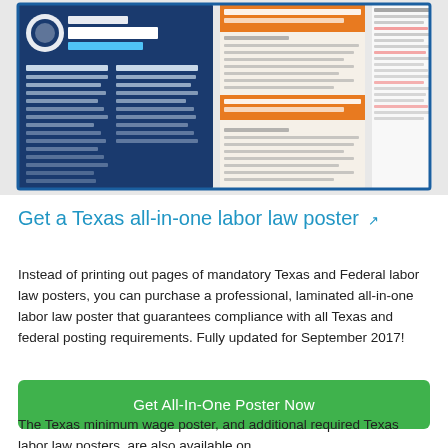[Figure (illustration): Composite image of Texas and Federal labor law posters including OSHA Job Safety and Health poster and Texas workplace posters]
Get a Texas all-in-one labor law poster
Instead of printing out pages of mandatory Texas and Federal labor law posters, you can purchase a professional, laminated all-in-one labor law poster that guarantees compliance with all Texas and federal posting requirements. Fully updated for September 2017!
Get All-In-One Poster Now
The Texas minimum wage poster, and additional required Texas labor law posters, are also available on